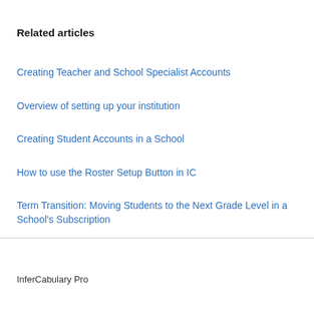Related articles
Creating Teacher and School Specialist Accounts
Overview of setting up your institution
Creating Student Accounts in a School
How to use the Roster Setup Button in IC
Term Transition: Moving Students to the Next Grade Level in a School's Subscription
InferCabulary Pro